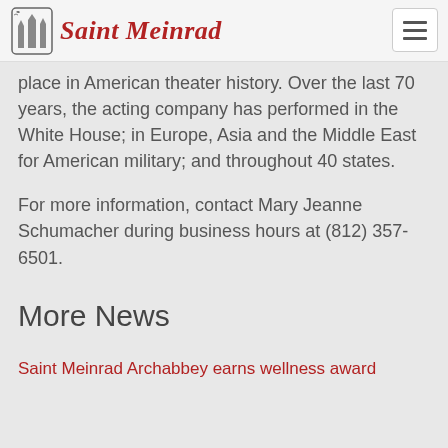Saint Meinrad
place in American theater history. Over the last 70 years, the acting company has performed in the White House; in Europe, Asia and the Middle East for American military; and throughout 40 states.
For more information, contact Mary Jeanne Schumacher during business hours at (812) 357-6501.
More News
Saint Meinrad Archabbey earns wellness award